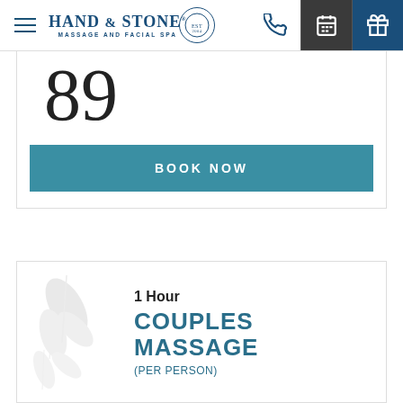[Figure (logo): Hand & Stone Massage and Facial Spa logo with circular emblem]
89
BOOK NOW
1 Hour
COUPLES MASSAGE
(PER PERSON)